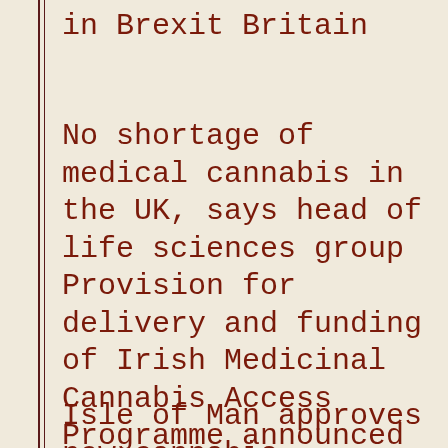in Brexit Britain
No shortage of medical cannabis in the UK, says head of life sciences group
Provision for delivery and funding of Irish Medicinal Cannabis Access Programme announced
Isle of Man approves new cannabis cultivation and